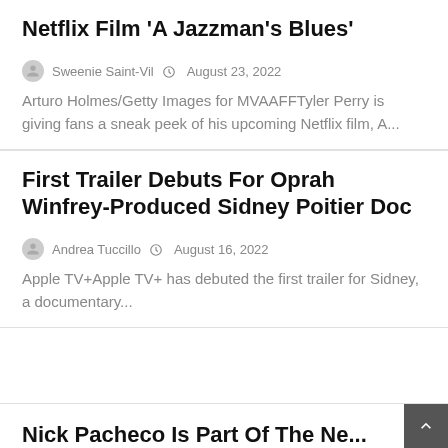Netflix Film 'A Jazzman's Blues'
Sweenie Saint-Vil  August 23, 2022
Arturo Holmes/Getty Images for MVAAFFTyler Perry is giving fans a sneak peek of his upcoming Netflix film, A...
First Trailer Debuts For Oprah Winfrey-Produced Sidney Poitier Doc
Andrea Tuccillo  August 16, 2022
Apple TV+Apple TV+ has debuted the first trailer for Sidney, a documentary...
Nick Pacheco Is Part Of The Ne...